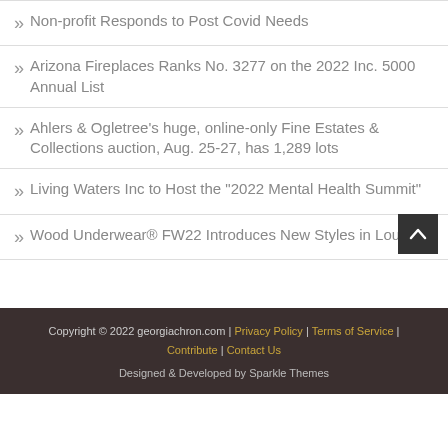Non-profit Responds to Post Covid Needs
Arizona Fireplaces Ranks No. 3277 on the 2022 Inc. 5000 Annual List
Ahlers & Ogletree's huge, online-only Fine Estates & Collections auction, Aug. 25-27, has 1,289 lots
Living Waters Inc to Host the "2022 Mental Health Summit"
Wood Underwear® FW22 Introduces New Styles in Lounge
Copyright © 2022 georgiachron.com | Privacy Policy | Terms of Service | Contribute | Contact Us
Designed & Developed by Sparkle Themes